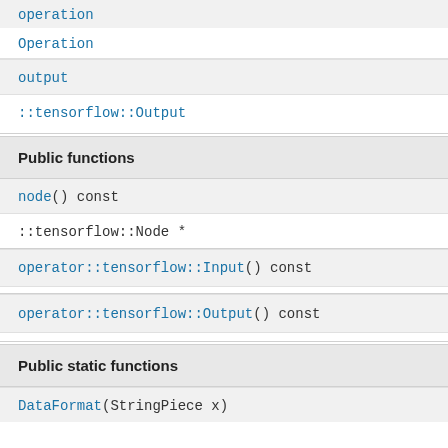operation
Operation
output
::tensorflow::Output
Public functions
node() const
::tensorflow::Node *
operator::tensorflow::Input() const
operator::tensorflow::Output() const
Public static functions
DataFormat(StringPiece x)